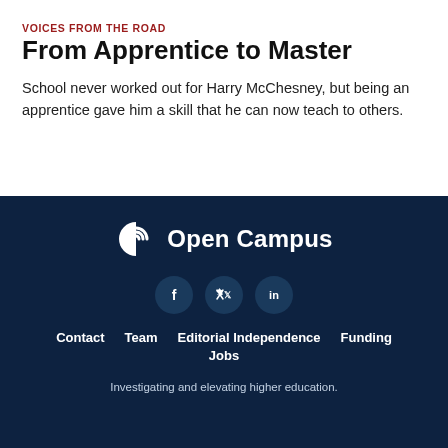VOICES FROM THE ROAD
From Apprentice to Master
School never worked out for Harry McChesney, but being an apprentice gave him a skill that he can now teach to others.
[Figure (logo): Open Campus logo with icon and wordmark in white on dark navy background]
[Figure (logo): Social media icons: Facebook, Twitter, LinkedIn in circular buttons]
Contact    Team    Editorial Independence    Funding
Jobs
Investigating and elevating higher education.